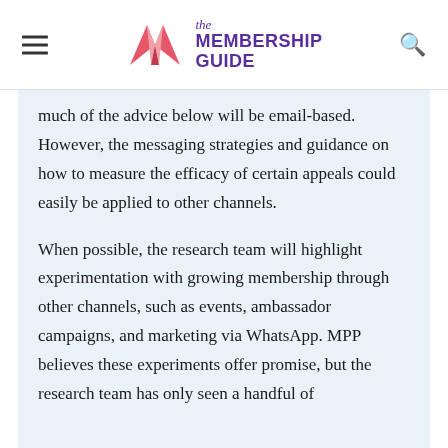the MEMBERSHIP GUIDE
much of the advice below will be email-based. However, the messaging strategies and guidance on how to measure the efficacy of certain appeals could easily be applied to other channels.
When possible, the research team will highlight experimentation with growing membership through other channels, such as events, ambassador campaigns, and marketing via WhatsApp. MPP believes these experiments offer promise, but the research team has only seen a handful of